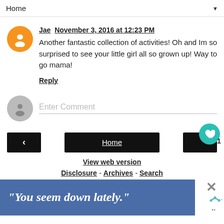Home ▼
Jae  November 3, 2016 at 12:23 PM
Another fantastic collection of activities! Oh and Im so surprised to see your little girl all so grown up! Way to go mama!
Reply
Enter Comment
< [Home] > View web version Disclosure - Archives - Search
"You seem down lately."